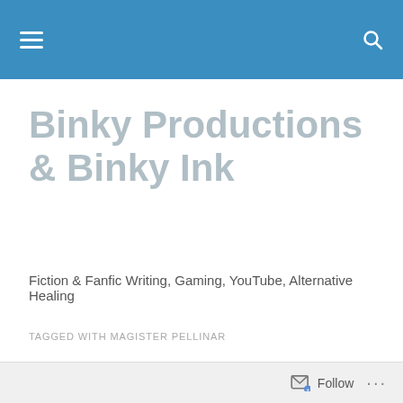Binky Productions & Binky Ink — navigation bar
Binky Productions & Binky Ink
Fiction & Fanfic Writing, Gaming, YouTube, Alternative Healing
TAGGED WITH MAGISTER PELLINAR
Death in the Mansion – A Compendium of Orlesian Theatre (Dragon Age Performance)
Follow